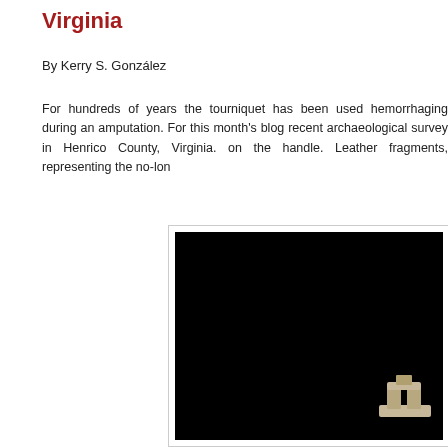Virginia
By Kerry S. González
For hundreds of years the tourniquet has been used hemorrhaging during an amputation. For this month's blog recent archaeological survey in Henrico County, Virginia. on the handle. Leather fragments, representing the no-lon
[Figure (photo): A dark/black background photograph showing an archaeological artifact (tourniquet handle) partially visible at the lower right corner of the image.]